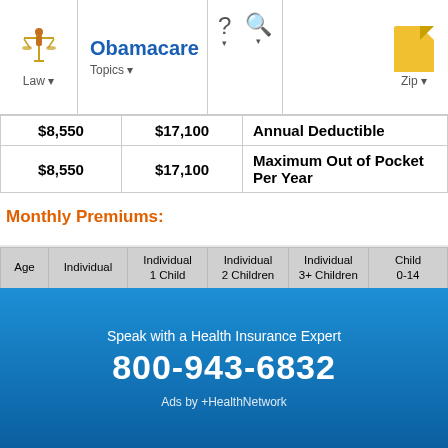Obamacare — Law | Topics | Zip
|  |  |  |
| --- | --- | --- |
| $8,550 | $17,100 | Annual Deductible |
| $8,550 | $17,100 | Maximum Out of Pocket Per Year |
Monthly Premiums:
| Age | Individual | Individual 1 Child | Individual 2 Children | Individual 3+ Children | Child 0-14 |
| --- | --- | --- | --- | --- | --- |
| 21 | $218,26 | $391,34 | $564,42 | $737,50 | $173,08 |
| 30 | $303,38 | $476,46 | $649,54 | $822,62 |  |
| 40 | $322,80 | $495,88 | $668,96 | $842,04 |  |
| 50 | $464,23 | $637,31 | $810,39 | $983,47 |  |
| 60 | $654,77 |  |  |  |  |
| Age | Couple | Couple 1 Child | Couple 2 Chidren | Couple 3+ Children | Child 0-14 |
| --- | --- | --- | --- | --- | --- |
Speak with a Health Insurance Expert
800-943-6832
Ads by +HealthNetwork